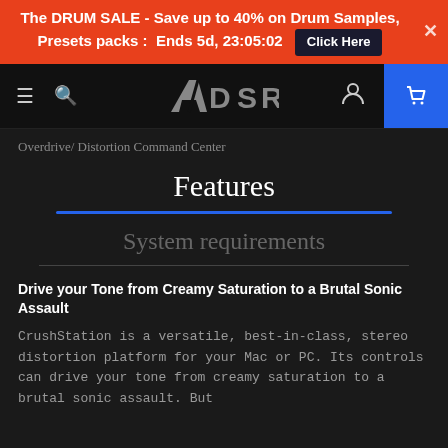The DRUM SALE - Save up to 40% on Drum Samples, Presets packs : Ends 5d, 23:05:02  Click Here
[Figure (screenshot): ADSR website navigation bar with hamburger menu, search icon, ADSR logo, user icon, and blue shopping cart icon]
Overdrive/ Distortion Command Center
Features
System requirements
Drive your Tone from Creamy Saturation to a Brutal Sonic Assault
CrushStation is a versatile, best-in-class, stereo distortion platform for your Mac or PC. Its controls can drive your tone from creamy saturation to a brutal sonic assault. But